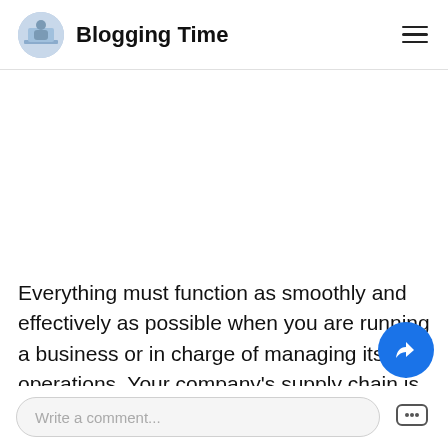Blogging Time
Everything must function as smoothly and effectively as possible when you are running a business or in charge of managing its operations. Your company's supply chain is critical, and if there is a weak link in it, you may face challenges and issues that impede or even block your company's pr